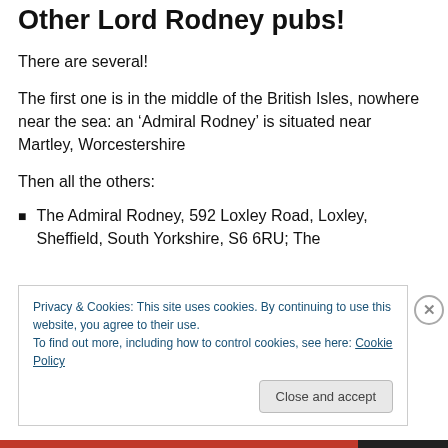Other Lord Rodney pubs!
There are several!
The first one is in the middle of the British Isles, nowhere near the sea: an ‘Admiral Rodney’ is situated near Martley, Worcestershire
Then all the others:
The Admiral Rodney, 592 Loxley Road, Loxley, Sheffield, South Yorkshire, S6 6RU; The
Privacy & Cookies: This site uses cookies. By continuing to use this website, you agree to their use.
To find out more, including how to control cookies, see here: Cookie Policy
Close and accept